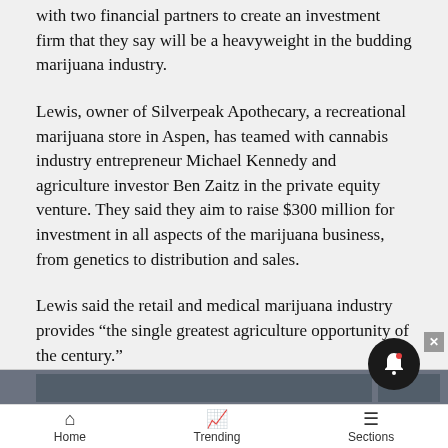with two financial partners to create an investment firm that they say will be a heavyweight in the budding marijuana industry.
Lewis, owner of Silverpeak Apothecary, a recreational marijuana store in Aspen, has teamed with cannabis industry entrepreneur Michael Kennedy and agriculture investor Ben Zaitz in the private equity venture. They said they aim to raise $300 million for investment in all aspects of the marijuana business, from genetics to distribution and sales.
Lewis said the retail and medical marijuana industry provides “the single greatest agriculture opportunity of the century.”
[Figure (photo): Partially visible image strip showing a dark textured photo, split into two sections at the bottom of the content area.]
Home   Trending   Sections